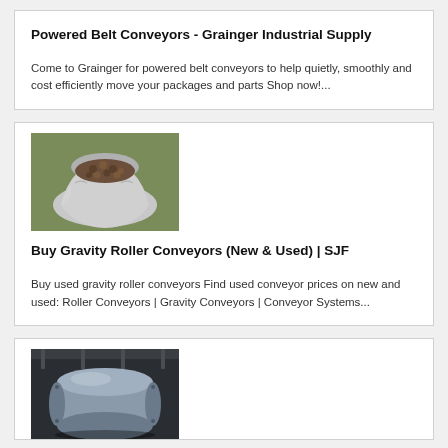Powered Belt Conveyors - Grainger Industrial Supply
Come to Grainger for powered belt conveyors to help quietly, smoothly and cost efficiently move your packages and parts Shop now!...
[Figure (photo): Photo of an open bag filled with small round pellets or balls, placed outdoors on grass]
Buy Gravity Roller Conveyors (New & Used) | SJF
Buy used gravity roller conveyors Find used conveyor prices on new and used: Roller Conveyors | Gravity Conveyors | Conveyor Systems...
[Figure (photo): Photo of large industrial drum or cylinder-shaped equipment in a warehouse or industrial setting]